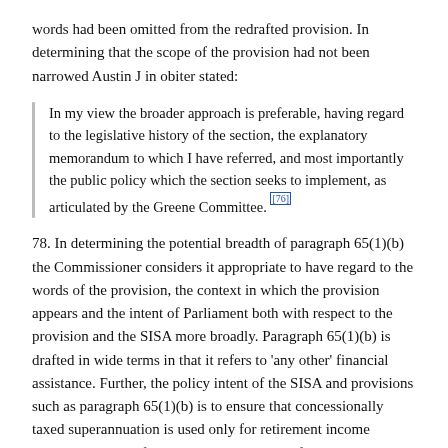words had been omitted from the redrafted provision. In determining that the scope of the provision had not been narrowed Austin J in obiter stated:
In my view the broader approach is preferable, having regard to the legislative history of the section, the explanatory memorandum to which I have referred, and most importantly the public policy which the section seeks to implement, as articulated by the Greene Committee. [76]
78. In determining the potential breadth of paragraph 65(1)(b) the Commissioner considers it appropriate to have regard to the words of the provision, the context in which the provision appears and the intent of Parliament both with respect to the provision and the SISA more broadly. Paragraph 65(1)(b) is drafted in wide terms in that it refers to 'any other' financial assistance. Further, the policy intent of the SISA and provisions such as paragraph 65(1)(b) is to ensure that concessionally taxed superannuation is used only for retirement income purposes and not, for example, as a source of pre-retirement finance. [77]